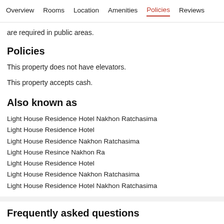Overview  Rooms  Location  Amenities  Policies  Reviews
are required in public areas.
Policies
This property does not have elevators.
This property accepts cash.
Also known as
Light House Residence Hotel Nakhon Ratchasima
Light House Residence Hotel
Light House Residence Nakhon Ratchasima
Light House Resince Nakhon Ra
Light House Residence Hotel
Light House Residence Nakhon Ratchasima
Light House Residence Hotel Nakhon Ratchasima
Frequently asked questions